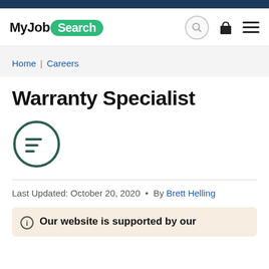MyJobSearch
Home | Careers
Warranty Specialist
[Figure (illustration): Circular icon with horizontal lines (document/list symbol), dark teal outline]
Last Updated: October 20, 2020  •  By Brett Helling
Our website is supported by our